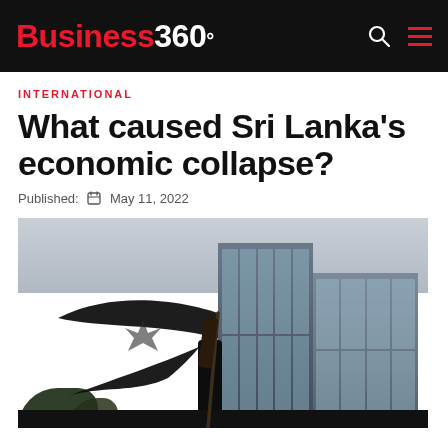Business 360°
INTERNATIONAL
What caused Sri Lanka's economic collapse?
Published: May 11, 2022
[Figure (photo): Person waving a large black flag in front of tall glass skyscrapers in Colombo, Sri Lanka, during economic crisis protests in 2022.]